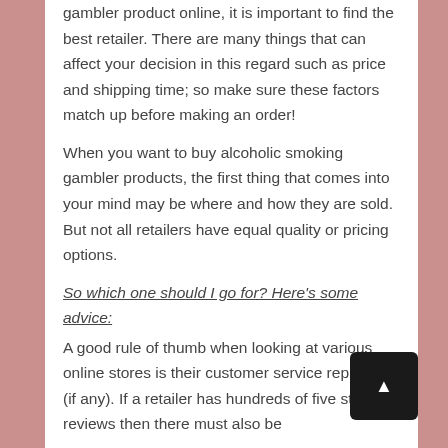gambler product online, it is important to find the best retailer. There are many things that can affect your decision in this regard such as price and shipping time; so make sure these factors match up before making an order!
When you want to buy alcoholic smoking gambler products, the first thing that comes into your mind may be where and how they are sold. But not all retailers have equal quality or pricing options.
So which one should I go for? Here's some advice:
A good rule of thumb when looking at various online stores is their customer service reputation (if any). If a retailer has hundreds of five stars reviews then there must also be